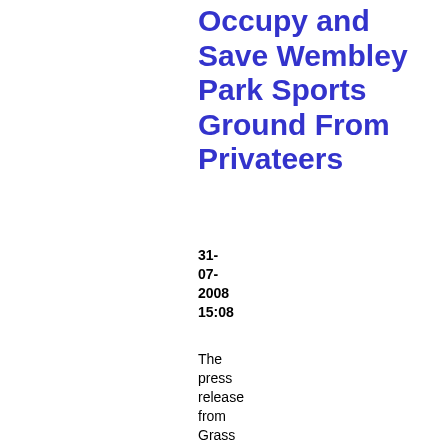Occupy and Save Wembley Park Sports Ground From Privateers
31-07-2008 15:08
The press release from Grass Roots Alliance for Social Sports (GRASS) who